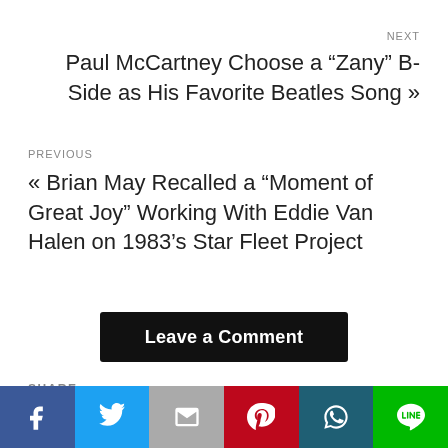NEXT
Paul McCartney Choose a “Zany” B-Side as His Favorite Beatles Song »
PREVIOUS
« Brian May Recalled a “Moment of Great Joy” Working With Eddie Van Halen on 1983’s Star Fleet Project
Leave a Comment
SHARE
[Figure (other): Social media share icons bar: Facebook, Twitter, Email, Pinterest, WhatsApp, Line]